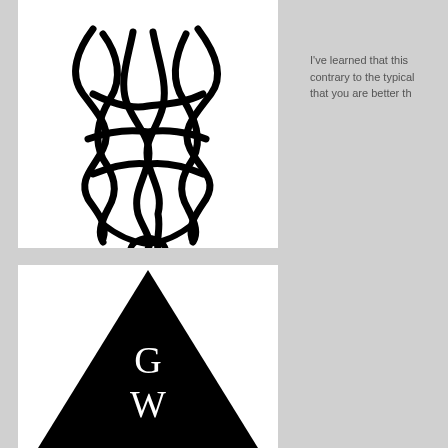[Figure (logo): Abstract calligraphic/knotwork logo mark in black on white background - three looping intertwined rope-like curves forming a decorative monogram]
[Figure (logo): Black equilateral triangle containing white letters G and W stacked vertically in the center]
I've learned that this contrary to the typical that you are better th